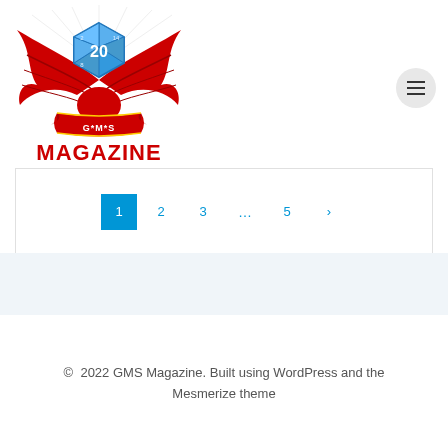[Figure (logo): GMS Magazine logo: red eagle wings with a blue d20 die showing '20', and a red banner reading 'G*M*S MAGAZINE']
Hamburger/menu icon button
1  2  3  ...  5  ›
© 2022 GMS Magazine. Built using WordPress and the Mesmerize theme